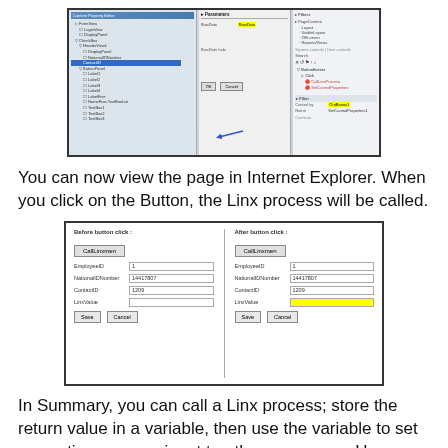[Figure (screenshot): Screenshot of a development environment showing Content Property Editor dialog on the left with a tree of controls, a properties panel in the center showing 'RowData' property with a yellow-highlighted value, and Solution Explorer on the right showing ButtonEvents > Click with CallLinxProcess and SetControlProperties items. The bottom right panel shows properties with a yellow-highlighted control value.]
You can now view the page in Internet Explorer. When you click on the Button, the Linx process will be called.
[Figure (screenshot): Before and after comparison screenshot showing a web form. Before button click: CallLinxmen button, fields for EmployeeID (1), NationalIDNumber (14417807), ContactID (1209), LinxValue (empty). After button click: same fields with LinxValue highlighted in yellow showing a value.]
In Summary, you can call a Linx process; store the return value in a variable, then use the variable to set properties or as an input to other processes. However, take note of the